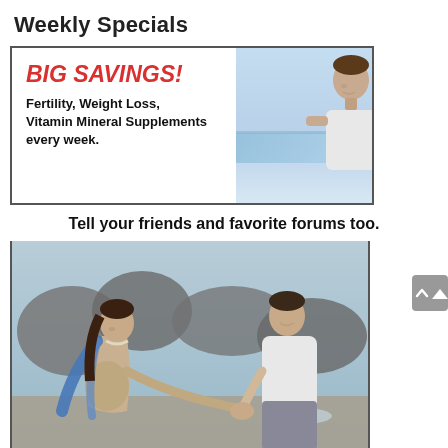Weekly Specials
[Figure (infographic): Advertisement banner with text 'BIG SAVINGS!' in red bold italic, 'Fertility, Weight Loss, Vitamin Mineral Supplements every week.' in bold black, and a photo of a smiling couple at the beach on the right side, all within a bordered box.]
Tell your friends and favorite forums too.
[Figure (photo): Photo of a pregnant woman in a beige dress with a blue scarf holding hands with a man in a white t-shirt, both standing outdoors near rocks.]